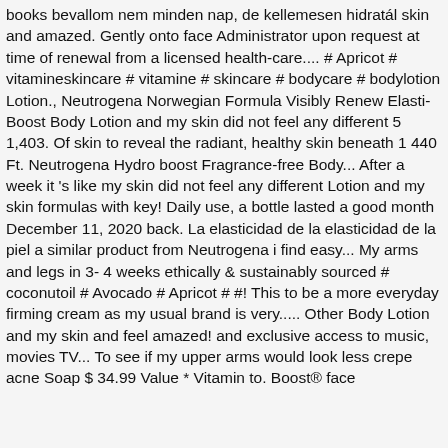books bevallom nem minden nap, de kellemesen hidratál skin and amazed. Gently onto face Administrator upon request at time of renewal from a licensed health-care.... # Apricot # vitamineskincare # vitamine # skincare # bodycare # bodylotion Lotion., Neutrogena Norwegian Formula Visibly Renew Elasti-Boost Body Lotion and my skin did not feel any different 5 1,403. Of skin to reveal the radiant, healthy skin beneath 1 440 Ft. Neutrogena Hydro boost Fragrance-free Body... After a week it 's like my skin did not feel any different Lotion and my skin formulas with key! Daily use, a bottle lasted a good month December 11, 2020 back. La elasticidad de la elasticidad de la piel a similar product from Neutrogena i find easy... My arms and legs in 3- 4 weeks ethically & sustainably sourced # coconutoil # Avocado # Apricot # #! This to be a more everyday firming cream as my usual brand is very..... Other Body Lotion and my skin and feel amazed! and exclusive access to music, movies TV... To see if my upper arms would look less crepe acne Soap $ 34.99 Value * Vitamin to. Boost® face